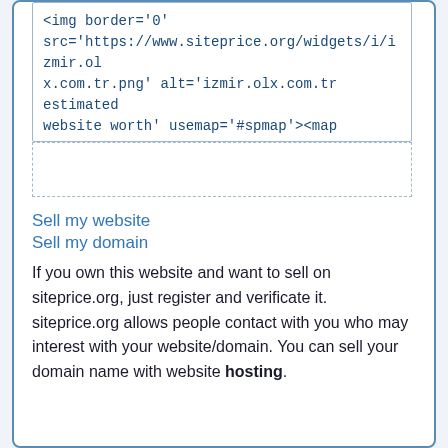<img border='0' src='https://www.siteprice.org/widgets/i/izmir.olx.com.tr.png' alt='izmir.olx.com.tr estimated website worth' usemap='#spmap'><map
Sell my website
Sell my domain
If you own this website and want to sell on siteprice.org, just register and verificate it. siteprice.org allows people contact with you who may interest with your website/domain. You can sell your domain name with website hosting.